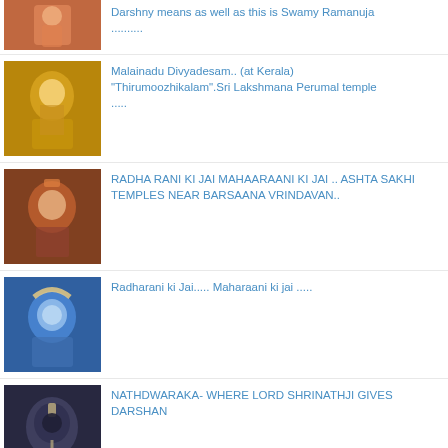Darshny means as well as this is Swamy Ramanuja..........
Malainadu Divyadesam.. (at Kerala) "Thirumoozhikalam".Sri Lakshmana Perumal temple .....
RADHA RANI KI JAI MAHAARAANI KI JAI .. ASHTA SAKHI TEMPLES NEAR BARSAANA VRINDAVAN..
Radharani ki Jai..... Maharaani ki jai .....
NATHDWARAKA- WHERE LORD SHRINATHJI GIVES DARSHAN